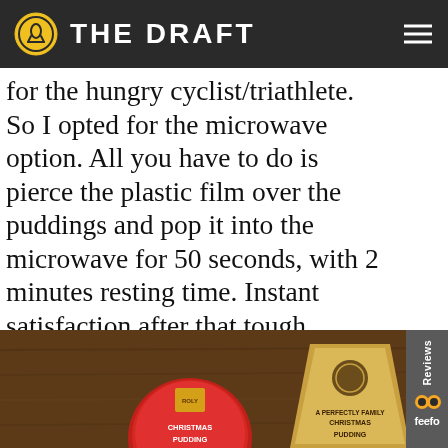THE DRAFT
for the hungry cyclist/triathlete. So I opted for the microwave option. All you have to do is pierce the plastic film over the puddings and pop it into the microwave for 50 seconds, with 2 minutes resting time. Instant satisfaction after that tough training session. Here are the puddings after they’ve been lovingly cooked.
[Figure (photo): Two Christmas puddings on a wooden surface: a round red-wrapped pudding on the left and a gold bag-shaped pudding on the right, both labeled CHRISTMAS PUDDING.]